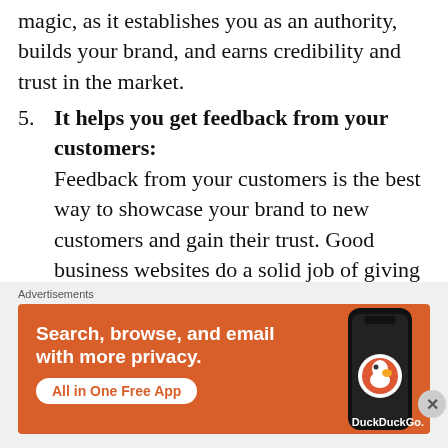magic, as it establishes you as an authority, builds your brand, and earns credibility and trust in the market.
5. It helps you get feedback from your customers: Feedback from your customers is the best way to showcase your brand to new customers and gain their trust. Good business websites do a solid job of giving customers the information they need, but they usually do it one way. There's often no room to ask questions or comment on the content or start a conversation. Therefore, a blog or other online platforms are so influential. It creates a two-way chat with customers,
Advertisements
[Figure (illustration): DuckDuckGo advertisement banner with orange background. Left side shows text 'Search, browse, and email with more privacy.' and a white pill button 'All in One Free App'. Right side shows a smartphone with DuckDuckGo app icon and brand name.]